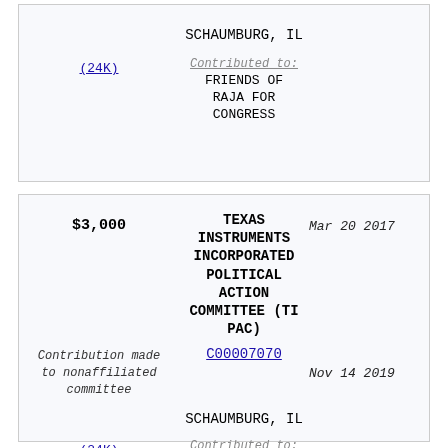SCHAUMBURG, IL
(24K)
Contributed to:
FRIENDS OF RAJA FOR CONGRESS
$3,000
TEXAS INSTRUMENTS INCORPORATED POLITICAL ACTION COMMITTEE (TI PAC)
Mar 20 2017
Contribution made to nonaffiliated committee
C00007070
Nov 14 2019
SCHAUMBURG, IL
(24K)
Contributed to:
FRIENDS OF RAJA FOR CONGRESS